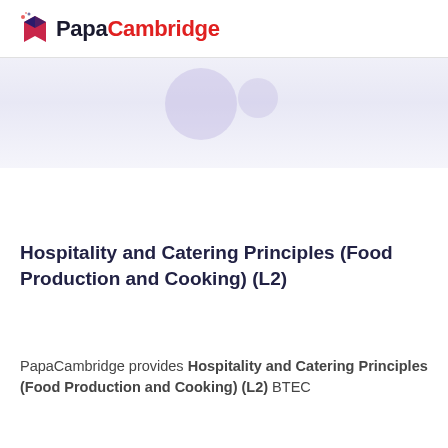PapaCambridge
[Figure (illustration): Decorative banner with light purple/lavender background and two circular bubble shapes]
Hospitality and Catering Principles (Food Production and Cooking) (L2)
PapaCambridge provides Hospitality and Catering Principles (Food Production and Cooking) (L2) BTEC